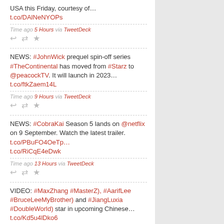USA this Friday, courtesy of… t.co/DAlNeNYOPs
Time ago 5 Hours via TweetDeck
NEWS: #JohnWick prequel spin-off series #TheContinental has moved from #Starz to @peacockTV. It will launch in 2023… t.co/ftkZaem14L
Time ago 9 Hours via TweetDeck
NEWS: #CobraKai Season 5 lands on @netflix on 9 September. Watch the latest trailer. t.co/PBuFO4OeTp… t.co/RiCqE4eDwk
Time ago 13 Hours via TweetDeck
VIDEO: #MaxZhang #MasterZ), #AarifLee #BruceLeeMyBrother) and #JiangLuxia #DoubleWorld) star in upcoming Chinese… t.co/Kd5u4lDko6
Time ago 21 Hours via TweetDeck